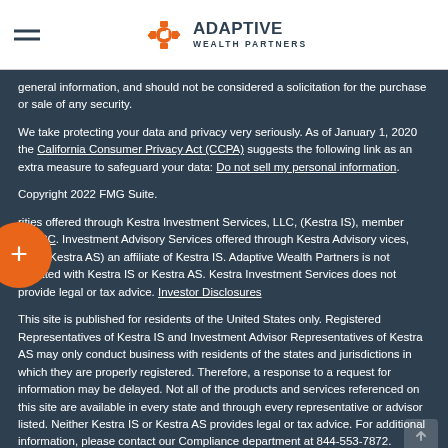Adaptive Wealth Partners
general information, and should not be considered a solicitation for the purchase or sale of any security.
We take protecting your data and privacy very seriously. As of January 1, 2020 the California Consumer Privacy Act (CCPA) suggests the following link as an extra measure to safeguard your data: Do not sell my personal information.
Copyright 2022 FMG Suite.
Securities offered through Kestra Investment Services, LLC, (Kestra IS), member FINRA/SIPC. Investment Advisory Services offered through Kestra Advisory Services, LLC, (Kestra AS) an affiliate of Kestra IS. Adaptive Wealth Partners is not affiliated with Kestra IS or Kestra AS. Kestra Investment Services does not provide legal or tax advice. Investor Disclosures
This site is published for residents of the United States only. Registered Representatives of Kestra IS and Investment Advisor Representatives of Kestra AS may only conduct business with residents of the states and jurisdictions in which they are properly registered. Therefore, a response to a request for information may be delayed. Not all of the products and services referenced on this site are available in every state and through every representative or advisor listed. Neither Kestra IS or Kestra AS provides legal or tax advice. For additional information, please contact our Compliance department at 844-553-7872.